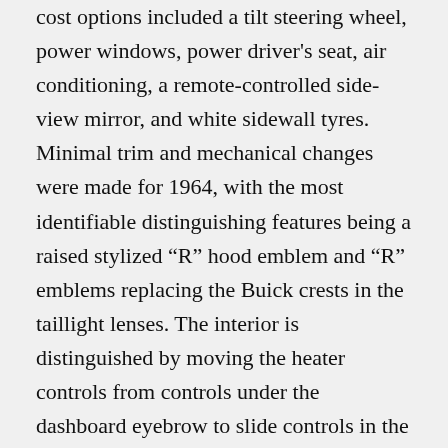cost options included a tilt steering wheel, power windows, power driver's seat, air conditioning, a remote-controlled side-view mirror, and white sidewall tyres. Minimal trim and mechanical changes were made for 1964, with the most identifiable distinguishing features being a raised stylized “R” hood emblem and “R” emblems replacing the Buick crests in the taillight lenses. The interior is distinguished by moving the heater controls from controls under the dashboard eyebrow to slide controls in the forward fairing of the center console. Leather was dropped as an option, and the Dynaflow-based twin-turbine transmission was replaced by a new three-speed Super Turbine 400. This was a GM Turbo Hydra-Matic with a variable pitch torque converter like the Dynaflow’s. It used a two-speed “D” and ‘L” selector, but could automatically downshift from third to second until the car reached a suitable speed to downshift to first. This was the first year of the stylized “R” emblem, a trademark that would continue throughout the remainder of Riviera’s 36-year production run. The engine was upgraded to the optional and rated 340 hp 495 cu in (7.9 l) V8. A 360 h